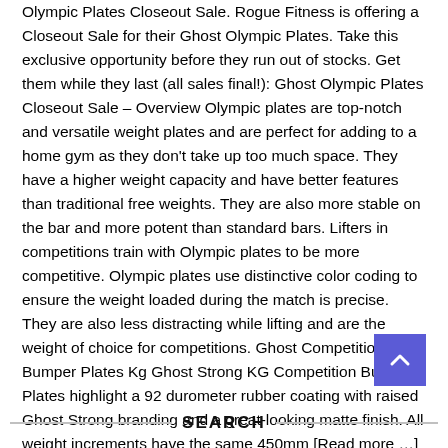Olympic Plates Closeout Sale. Rogue Fitness is offering a Closeout Sale for their Ghost Olympic Plates. Take this exclusive opportunity before they run out of stocks. Get them while they last (all sales final!): Ghost Olympic Plates Closeout Sale – Overview Olympic plates are top-notch and versatile weight plates and are perfect for adding to a home gym as they don't take up too much space. They have a higher weight capacity and have better features than traditional free weights. They are also more stable on the bar and more potent than standard bars. Lifters in competitions train with Olympic plates to be more competitive. Olympic plates use distinctive color coding to ensure the weight loaded during the match is precise. They are also less distracting while lifting and are the weight of choice for competitions. Ghost Competition Bumper Plates Kg Ghost Strong KG Competition Bumper Plates highlight a 92 durometer rubber coating with raised Ghost Strong branding and a great-looking matte finish. All weight increments have the same 450mm [Read more …]
[Figure (other): Blue scroll-to-top button with upward chevron arrow]
SEARCH